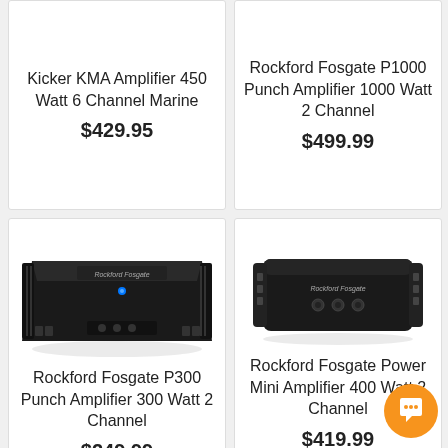Kicker KMA Amplifier 450 Watt 6 Channel Marine
$429.95
Rockford Fosgate P1000 Punch Amplifier 1000 Watt 2 Channel
$499.99
[Figure (photo): Rockford Fosgate P300 Punch Amplifier - black car amplifier, top-down angled view]
Rockford Fosgate P300 Punch Amplifier 300 Watt 2 Channel
$249.99
[Figure (photo): Rockford Fosgate Power Mini Amplifier - compact black rectangular amplifier, front view]
Rockford Fosgate Power Mini Amplifier 400 Watt 2 Channel
$419.99